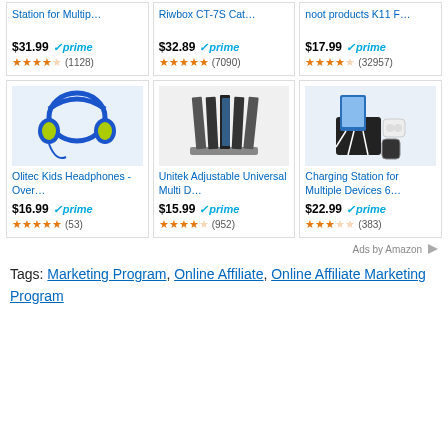[Figure (screenshot): Top row of Amazon product cards (partial, cropped): Station for Multip… $31.99 prime 4.5 stars (1128), Riwbox CT-7S Cat… $32.89 prime 5 stars (7090), noot products K11 F… $17.99 prime 4.5 stars (32957)]
[Figure (photo): Blue and yellow-green Olitec Kids Headphones over-ear style]
Olitec Kids Headphones - Over…
$16.99 prime
4.5 stars (53)
[Figure (photo): Unitek Adjustable Universal Multi Device charging dock with multiple tablets/phones]
Unitek Adjustable Universal Multi D…
$15.99 prime
4 stars (952)
[Figure (photo): Black Charging Station for Multiple Devices 6 port with tablet and AirPods]
Charging Station for Multiple Devices 6…
$22.99 prime
3.5 stars (383)
Ads by Amazon
Tags: Marketing Program, Online Affiliate, Online Affiliate Marketing Program